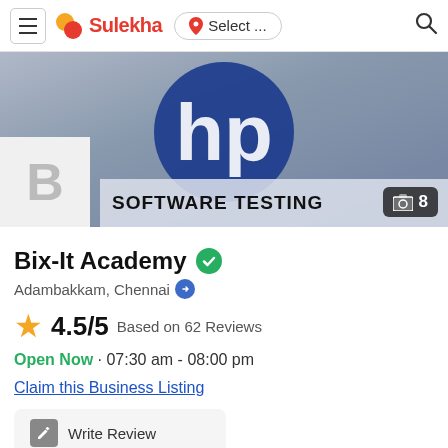Sulekha | Select ... | Search
[Figure (screenshot): Hero image showing HP logo on a blue/grey background with a SOFTWARE TESTING banner, business logo placeholder B, and photo count badge showing 8]
Bix-It Academy (verified)
Adambakkam, Chennai
4.5/5 Based on 62 Reviews
Open Now · 07:30 am - 08:00 pm
Claim this Business Listing
Write Review